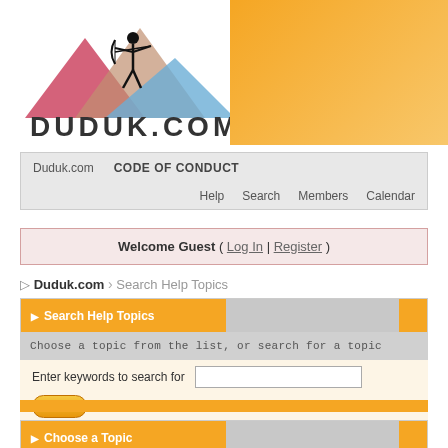[Figure (logo): Duduk.com logo with archer silhouette on mountain peaks in blue, red/pink, and tan/orange colors, with DUDUK.COM text below]
Duduk.com   CODE OF CONDUCT
Help   Search   Members   Calendar
Welcome Guest ( Log In | Register )
▷ Duduk.com > Search Help Topics
▶ Search Help Topics
Choose a topic from the list, or search for a topic
Enter keywords to search for
▶ Choose a Topic
Choose a topic from the list, or search for a topic